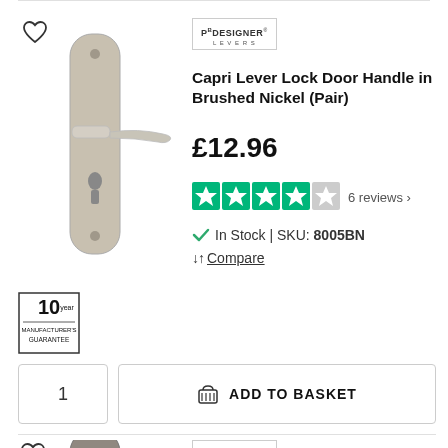[Figure (photo): Capri Lever Lock Door Handle in Brushed Nickel (Pair) - product image showing handle on backplate with keyhole, silver/nickel finish]
[Figure (logo): Designer Levers brand logo]
Capri Lever Lock Door Handle in Brushed Nickel (Pair)
£12.96
6 reviews
In Stock | SKU: 8005BN
Compare
[Figure (other): 10 Year Manufacturer's Guarantee badge]
1
ADD TO BASKET
[Figure (photo): Turnberry Lever Lock Door Handle - product image showing handle, dark/antique finish, partially visible]
[Figure (logo): Designer Levers brand logo]
Turnberry Lever Lock Door Handle -